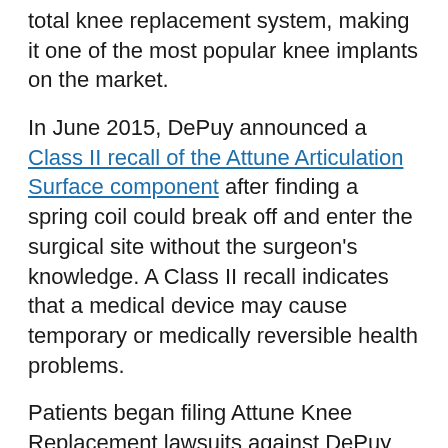total knee replacement system, making it one of the most popular knee implants on the market.
In June 2015, DePuy announced a Class II recall of the Attune Articulation Surface component after finding a spring coil could break off and enter the surgical site without the surgeon's knowledge. A Class II recall indicates that a medical device may cause temporary or medically reversible health problems.
Patients began filing Attune Knee Replacement lawsuits against DePuy and Johnson & Johnson in the fall of 2017. The filings followed publication of a study conducted by nine prominent orthopedic surgeons that indicated the Attune Knee was associated with an unexpectedly high rate of early failures, often due to tibial loosening.